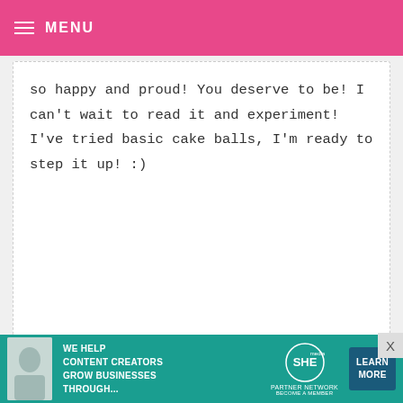MENU
so happy and proud! You deserve to be! I can't wait to read it and experiment! I've tried basic cake balls, I'm ready to step it up! :)
JENNIFER — AUGUST 1, 2010 @ 3:36 AM   REPLY
Thank you for the inspiration.
ROSILET — AUGUST 1, 2010 @ 3:28 AM   REPLY
[Figure (other): Advertisement banner: WE HELP CONTENT CREATORS GROW BUSINESSES THROUGH... SHE PARTNER NETWORK BECOME A MEMBER — LEARN MORE button]